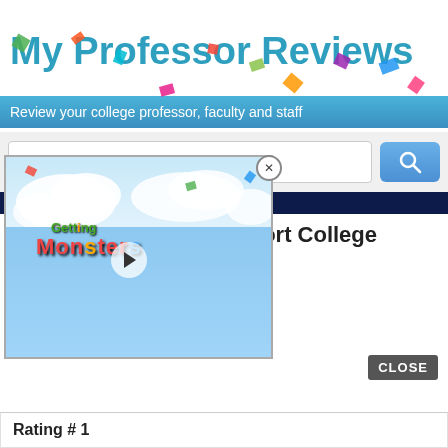My Professor Reviews
Review your college professor, faculty and staff
Quickly Search Profs
[Figure (screenshot): Video thumbnail showing Getting Smart Monsters educational game logo with cartoon characters on a light blue background with clouds]
Grossmont College
Professor: Paul Vincent
Department: Languages
College: Grossmont College
Rating # 1